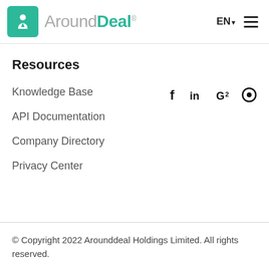AroundDeal® EN ☰
Resources
Knowledge Base
API Documentation
Company Directory
Privacy Center
© Copyright 2022 Arounddeal Holdings Limited. All rights reserved.